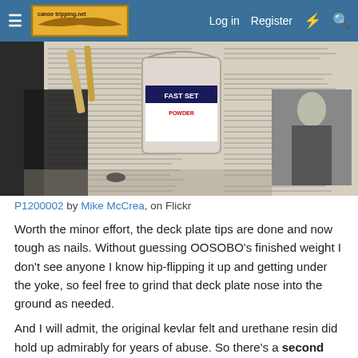Log in  Register
[Figure (photo): Photo of a paint can labeled 'FAST SET 423 POWDER' on a newspaper-covered table, with brushes and black plastic material nearby.]
P1200002 by Mike McCrea, on Flickr
Worth the minor effort, the deck plate tips are done and now tough as nails. Without guessing OOSOBO's finished weight I don't see anyone I know hip-flipping it up and getting under the yoke, so feel free to grind that deck plate nose into the ground as needed.
And I will admit, the original kevlar felt and urethane resin did hold up admirably for years of abuse. So there's a second use for kevlar felt. The other use NOT being skid plates.